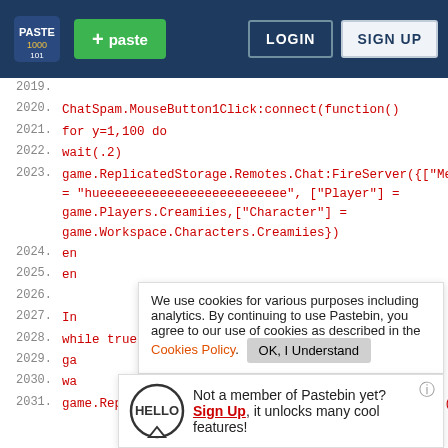Pastebin header with logo, + paste button, LOGIN, SIGN UP
Code listing lines 2019-2031 showing Lua/Roblox script code
Cookie notice popup: We use cookies for various purposes including analytics. By continuing to use Pastebin, you agree to our use of cookies as described in the Cookies Policy. OK, I Understand
Hello popup: Not a member of Pastebin yet? Sign Up, it unlocks many cool features!